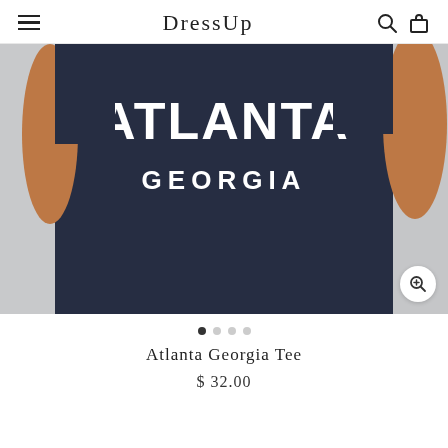DressUp
[Figure (photo): Close-up photo of a person wearing a navy blue t-shirt with 'ATLANTA GEORGIA' text printed in white on the front, paired with blue jeans. The image is cropped at chest/torso level.]
Atlanta Georgia Tee
$ 32.00